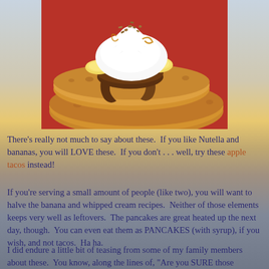[Figure (photo): Photo of pancakes topped with Nutella, banana slices, whipped cream and chopped nuts on a red plate]
There's really not much to say about these.  If you like Nutella and bananas, you will LOVE these.  If you don't . . . well, try these apple tacos instead!
If you're serving a small amount of people (like two), you will want to halve the banana and whipped cream recipes.  Neither of those elements keeps very well as leftovers.  The pancakes are great heated up the next day, though.  You can even eat them as PANCAKES (with syrup), if you wish, and not tacos.  Ha ha.
I did endure a little bit of teasing from some of my family members about these.  You know, along the lines of, "Are you SURE those